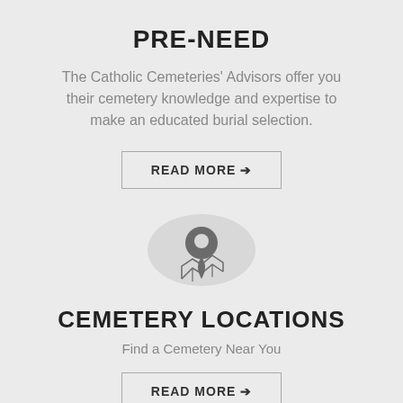PRE-NEED
The Catholic Cemeteries' Advisors offer you their cemetery knowledge and expertise to make an educated burial selection.
READ MORE →
[Figure (illustration): Map location pin icon inside a light gray circle, with a small map fold design at the base of the pin.]
CEMETERY LOCATIONS
Find a Cemetery Near You
READ MORE →